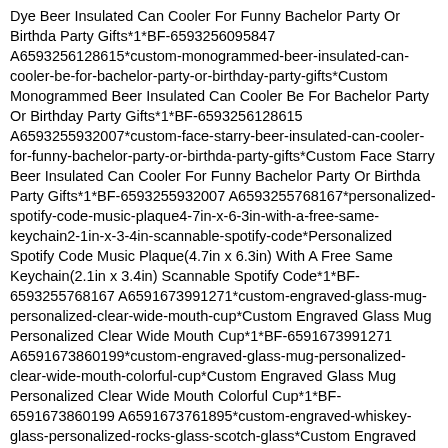Dye Beer Insulated Can Cooler For Funny Bachelor Party Or Birthda Party Gifts*1*BF-6593256095847 A6593256128615*custom-monogrammed-beer-insulated-can-cooler-be-for-bachelor-party-or-birthday-party-gifts*Custom Monogrammed Beer Insulated Can Cooler Be For Bachelor Party Or Birthday Party Gifts*1*BF-6593256128615 A6593255932007*custom-face-starry-beer-insulated-can-cooler-for-funny-bachelor-party-or-birthda-party-gifts*Custom Face Starry Beer Insulated Can Cooler For Funny Bachelor Party Or Birthda Party Gifts*1*BF-6593255932007 A6593255768167*personalized-spotify-code-music-plaque4-7in-x-6-3in-with-a-free-same-keychain2-1in-x-3-4in-scannable-spotify-code*Personalized Spotify Code Music Plaque(4.7in x 6.3in) With A Free Same Keychain(2.1in x 3.4in) Scannable Spotify Code*1*BF-6593255768167 A6591673991271*custom-engraved-glass-mug-personalized-clear-wide-mouth-cup*Custom Engraved Glass Mug Personalized Clear Wide Mouth Cup*1*BF-6591673991271 A6591673860199*custom-engraved-glass-mug-personalized-clear-wide-mouth-colorful-cup*Custom Engraved Glass Mug Personalized Clear Wide Mouth Colorful Cup*1*BF-6591673860199 A6591673761895*custom-engraved-whiskey-glass-personalized-rocks-glass-scotch-glass*Custom Engraved Whiskey Glass Personalized Rocks Glass Scotch Glass*1*BF-6591673761895 A6598899758823*custom-engraved-whiskey-glass-personalized-scotch-glass...